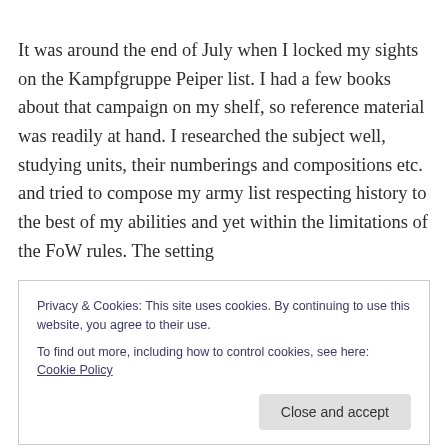It was around the end of July when I locked my sights on the Kampfgruppe Peiper list. I had a few books about that campaign on my shelf, so reference material was readily at hand. I researched the subject well, studying units, their numberings and compositions etc. and tried to compose my army list respecting history to the best of my abilities and yet within the limitations of the FoW rules. The setting
Privacy & Cookies: This site uses cookies. By continuing to use this website, you agree to their use.
To find out more, including how to control cookies, see here: Cookie Policy
Close and accept
Tournament's Best Painted competition with their stuff